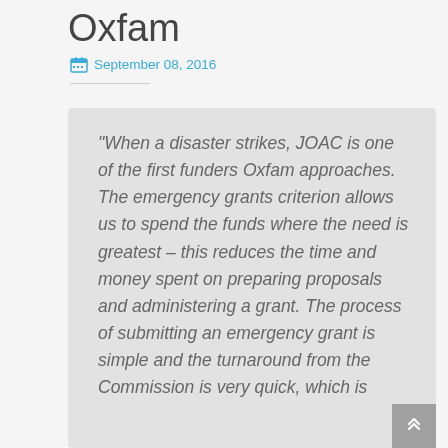Oxfam
September 08, 2016
“When a disaster strikes, JOAC is one of the first funders Oxfam approaches. The emergency grants criterion allows us to spend the funds where the need is greatest – this reduces the time and money spent on preparing proposals and administering a grant. The process of submitting an emergency grant is simple and the turnaround from the Commission is very quick, which is